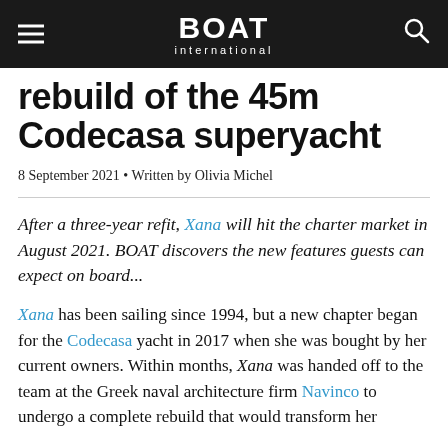BOAT International
rebuild of the 45m Codecasa superyacht
8 September 2021 • Written by Olivia Michel
After a three-year refit, Xana will hit the charter market in August 2021. BOAT discovers the new features guests can expect on board...
Xana has been sailing since 1994, but a new chapter began for the Codecasa yacht in 2017 when she was bought by her current owners. Within months, Xana was handed off to the team at the Greek naval architecture firm Navinco to undergo a complete rebuild that would transform her